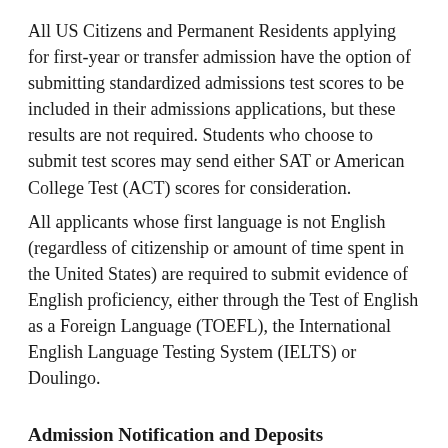All US Citizens and Permanent Residents applying for first-year or transfer admission have the option of submitting standardized admissions test scores to be included in their admissions applications, but these results are not required. Students who choose to submit test scores may send either SAT or American College Test (ACT) scores for consideration.
All applicants whose first language is not English (regardless of citizenship or amount of time spent in the United States) are required to submit evidence of English proficiency, either through the Test of English as a Foreign Language (TOEFL), the International English Language Testing System (IELTS) or Doulingo.
Admission Notification and Deposits
All notifications of admissions decisions are released electronically. Upon receipt of his or her application, the applicant will be given access to an online account for this